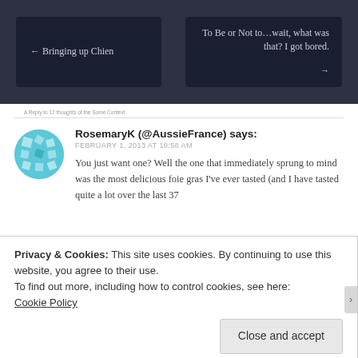← Bringing up Chien
To Be or Not to…wait, what was that? I got bored. →
A Reply to 17 thoughts of the Some Context
RosemaryK (@AussieFrance) says: FEBRUARY 1, 2013 AT 10:58 AM You just want one? Well the one that immediately sprung to mind was the most delicious foie gras I've ever tasted (and I have tasted quite a lot over the last 37
Privacy & Cookies: This site uses cookies. By continuing to use this website, you agree to their use.
To find out more, including how to control cookies, see here:
Cookie Policy
Close and accept